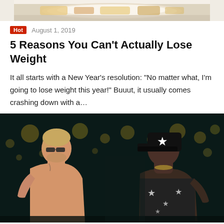[Figure (photo): Partial top image showing a plate of food on a white background]
Hot   August 1, 2019
5 Reasons You Can't Actually Lose Weight
It all starts with a New Year's resolution: “No matter what, I’m going to lose weight this year!” Buuut, it usually comes crashing down with a…
[Figure (photo): Two fighters facing off against each other in a darkened arena with bokeh lights in the background. One is shirtless with tattoos and the other wears a black cap with stars.]